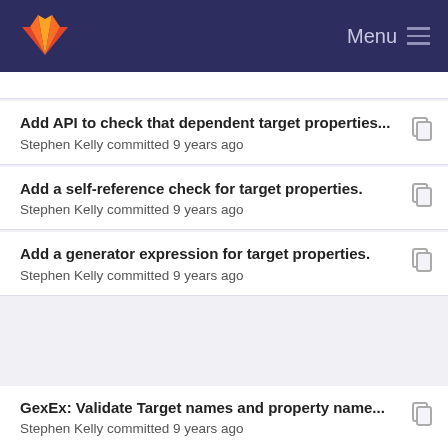Menu
Add API to check that dependent target properties... Stephen Kelly committed 9 years ago
Add a self-reference check for target properties. Stephen Kelly committed 9 years ago
Add a generator expression for target properties. Stephen Kelly committed 9 years ago
GexEx: Validate Target names and property name... Stephen Kelly committed 9 years ago
GenEx: Validate target and property names.